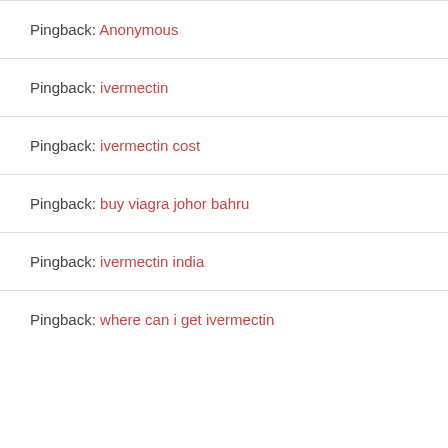Pingback: Anonymous
Pingback: ivermectin
Pingback: ivermectin cost
Pingback: buy viagra johor bahru
Pingback: ivermectin india
Pingback: where can i get ivermectin